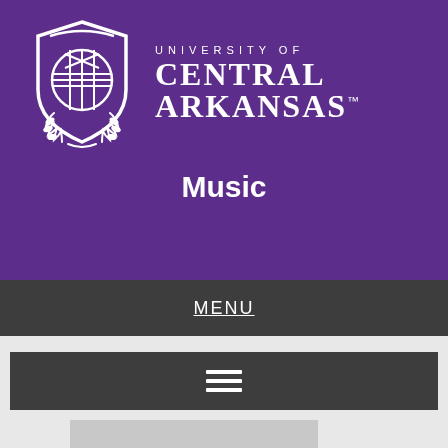[Figure (logo): University of Central Arkansas shield logo with laurel wreath, white on purple background]
UNIVERSITY OF CENTRAL ARKANSAS™
Music
MENU
[Figure (other): Hamburger menu icon (three horizontal white lines) on dark gray bar]
[Figure (photo): Partial image visible at bottom of page, light gray]